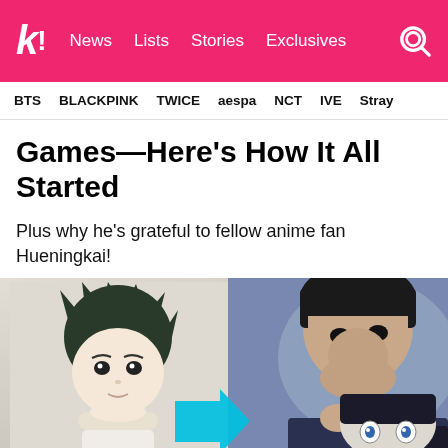k! News Lists Stories Exclusives
BTS BLACKPINK TWICE aespa NCT IVE Stray
Games—Here's How It All Started
Plus why he's grateful to fellow anime fan Hueningkai!
[Figure (photo): Composite image showing an anime character (thoughtful boy resting chin on hand) on the left and a real K-pop idol on the right, with a blue arrow pointing right in the center-bottom area.]